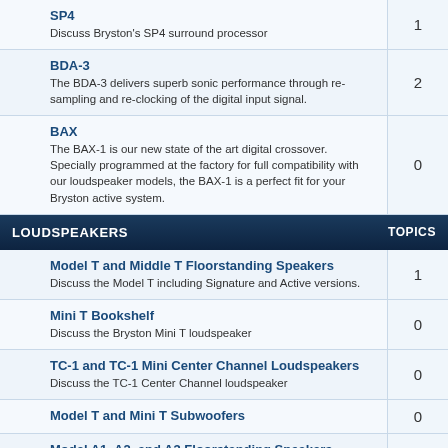SP4 - Discuss Bryston's SP4 surround processor - Topics: 1
BDA-3 - The BDA-3 delivers superb sonic performance through re-sampling and re-clocking of the digital input signal. - Topics: 2
BAX - The BAX-1 is our new state of the art digital crossover. Specially programmed at the factory for full compatibility with our loudspeaker models, the BAX-1 is a perfect fit for your Bryston active system. - Topics: 0
LOUDSPEAKERS - TOPICS
Model T and Middle T Floorstanding Speakers - Discuss the Model T including Signature and Active versions. - Topics: 1
Mini T Bookshelf - Discuss the Bryston Mini T loudspeaker - Topics: 0
TC-1 and TC-1 Mini Center Channel Loudspeakers - Discuss the TC-1 Center Channel loudspeaker - Topics: 0
Model T and Mini T Subwoofers - Topics: 0
Model A1, A2, and A3 Floorstanding Speakers - Discuss the Model A1, Model A2, and Model A3 Floorstanding Loudspeakers. - Topics: 0
Mini A Bookshelf - Discuss the Mini A bookshelf loudspeaker - Topics: 0